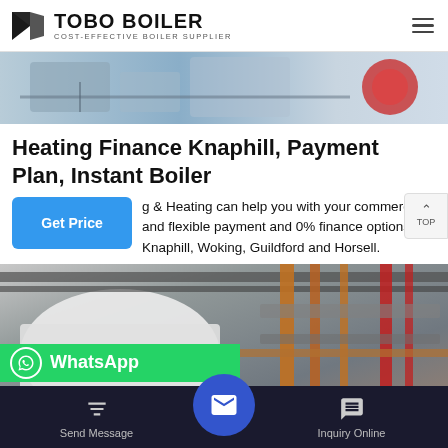TOBO BOILER — COST-EFFECTIVE BOILER SUPPLIER
[Figure (photo): Industrial boiler equipment photo — top banner image showing boilers and pipes]
Heating Finance Knaphill, Payment Plan, Instant Boiler
& Heating can help you with your commercial and flexible payment and 0% finance options, in Knaphill, Woking, Guildford and Horsell.
[Figure (photo): Industrial boiler room with pipes — bottom image showing boiler installation with orange and red pipes]
Send Message | Inquiry Online